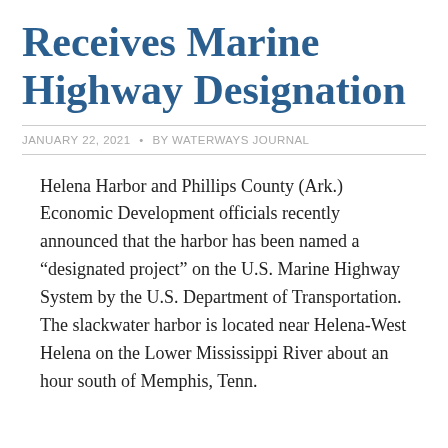Receives Marine Highway Designation
JANUARY 22, 2021  •  BY WATERWAYS JOURNAL
Helena Harbor and Phillips County (Ark.) Economic Development officials recently announced that the harbor has been named a “designated project” on the U.S. Marine Highway System by the U.S. Department of Transportation. The slackwater harbor is located near Helena-West Helena on the Lower Mississippi River about an hour south of Memphis, Tenn.